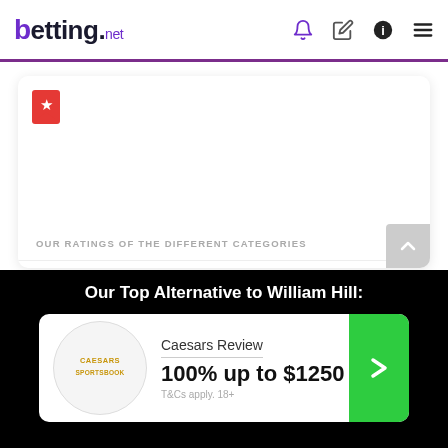betting.net
[Figure (screenshot): Betting site review card with bookmark icon and blank logo area]
OUR RATINGS OF THE DIFFERENT CATEGORIES
Sports: ★★★★☆ 70/100
Casino: ★★★★½ 89/100
Our Top Alternative to William Hill:
Caesars Review
100% up to $1250
T&Cs apply. 18+